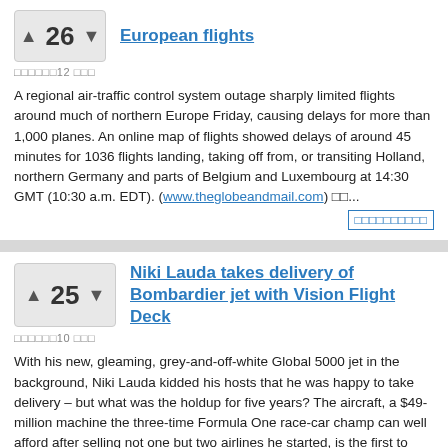European flights
□□□□□□12 □□□
A regional air-traffic control system outage sharply limited flights around much of northern Europe Friday, causing delays for more than 1,000 planes. An online map of flights showed delays of around 45 minutes for 1036 flights landing, taking off from, or transiting Holland, northern Germany and parts of Belgium and Luxembourg at 14:30 GMT (10:30 a.m. EDT). (www.theglobeandmail.com) □□...
□□□□□□□□□□
Niki Lauda takes delivery of Bombardier jet with Vision Flight Deck
□□□□□□10 □□□
With his new, gleaming, grey-and-off-white Global 5000 jet in the background, Niki Lauda kidded his hosts that he was happy to take delivery – but what was the holdup for five years? The aircraft, a $49-million machine the three-time Formula One race-car champ can well afford after selling not one but two airlines he started, is the first to feature Bombardier Inc.'s Vision Flight Deck. (www.montrealgazette.com) □□...